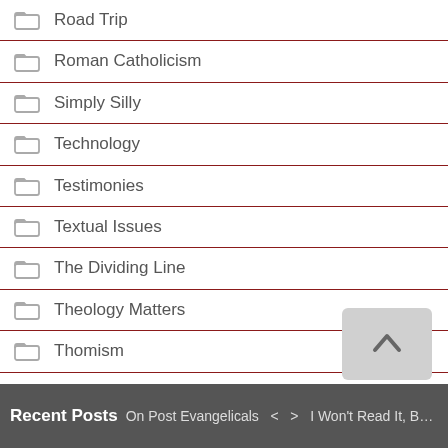Road Trip
Roman Catholicism
Simply Silly
Technology
Testimonies
Textual Issues
The Dividing Line
Theology Matters
Thomism
Tomb Issues
TROnlyism
Uncategorized
Recent Posts  On Post Evangelicals  <  >  I Won't Read It, But It Must Be a Lie!